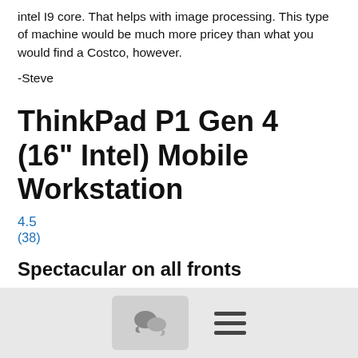intel I9 core. That helps with image processing. This type of machine would be much more pricey than what you would find a Costco, however.
-Steve
ThinkPad P1 Gen 4 (16" Intel) Mobile Workstation
4.5
(38)
Spectacular on all fronts
Powered by Intel® with the latest Core™ or Xeon® processors
Up to NVIDIA® RTX™ GPUs